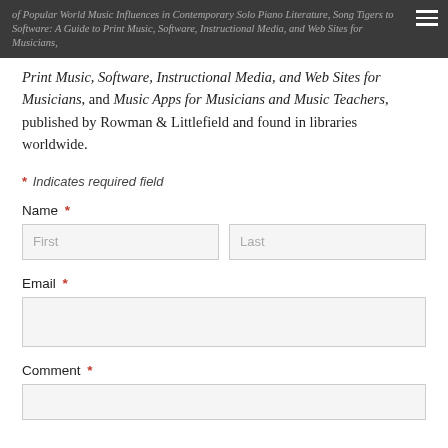of Popular World Music Influences in Contemporary Solo Piano Literature, Song Tigers to Software: A Guide to Print Music, Software, Instructional Media, and Web Sites for Musicians, and Music Apps for Musicians and Music Teachers, published by Rowman & Littlefield and found in libraries worldwide.
Print Music, Software, Instructional Media, and Web Sites for Musicians, and Music Apps for Musicians and Music Teachers, published by Rowman & Littlefield and found in libraries worldwide.
* Indicates required field
Name *
First
Last
Email *
Comment *